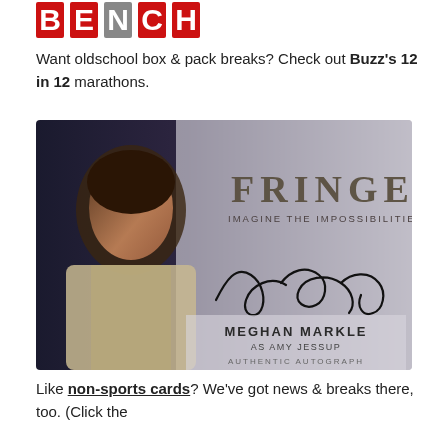[Figure (logo): BENCH logo with red and gray block letters]
Want oldschool box & pack breaks? Check out Buzz's 12 in 12 marathons.
[Figure (photo): Fringe trading card featuring Meghan Markle as Amy Jessup with authentic autograph. Card reads FRINGE IMAGINE THE IMPOSSIBILITIES, MEGHAN MARKLE AS AMY JESSUP, AUTHENTIC AUTOGRAPH]
Like non-sports cards? We've got news & breaks there, too. (Click the